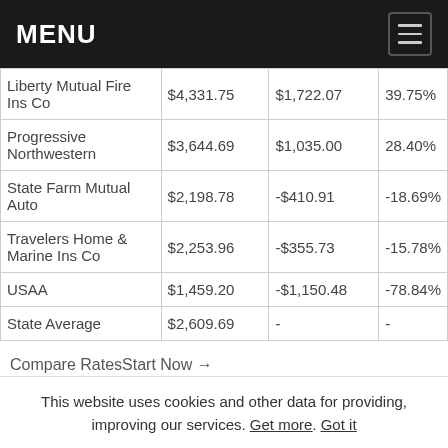MENU
| Company | Rate | Difference | % Difference |
| --- | --- | --- | --- |
| Liberty Mutual Fire Ins Co | $4,331.75 | $1,722.07 | 39.75% |
| Progressive Northwestern | $3,644.69 | $1,035.00 | 28.40% |
| State Farm Mutual Auto | $2,198.78 | -$410.91 | -18.69% |
| Travelers Home & Marine Ins Co | $2,253.96 | -$355.73 | -15.78% |
| USAA | $1,459.20 | -$1,150.48 | -78.84% |
| State Average | $2,609.69 | - | - |
Compare RatesStart Now →
As you can see, looking at different companies can save a
This website uses cookies and other data for providing, improving our services. Get more. Got it